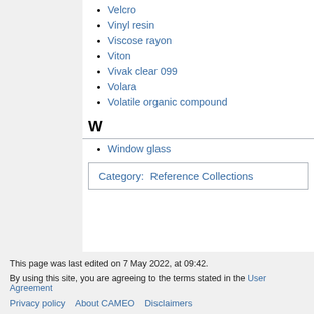Velcro
Vinyl resin
Viscose rayon
Viton
Vivak clear 099
Volara
Volatile organic compound
W
Window glass
Category:  Reference Collections
This page was last edited on 7 May 2022, at 09:42.
By using this site, you are agreeing to the terms stated in the User Agreement
Privacy policy  About CAMEO  Disclaimers